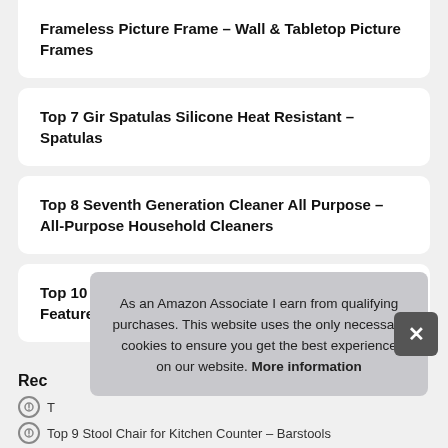Frameless Picture Frame – Wall & Tabletop Picture Frames
Top 7 Gir Spatulas Silicone Heat Resistant – Spatulas
Top 8 Seventh Generation Cleaner All Purpose – All-Purpose Household Cleaners
Top 10 Microfiber Cloths 12×12 – Kitchen & Dining Features
Rec
T...
Top 9 Stool Chair for Kitchen Counter – Barstools
As an Amazon Associate I earn from qualifying purchases. This website uses the only necessary cookies to ensure you get the best experience on our website. More information